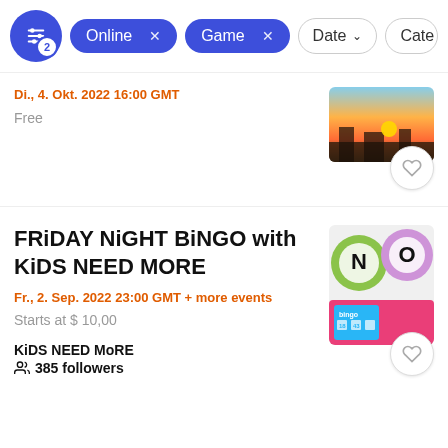Filter bar: [filter icon with badge 2] [Online x] [Game x] [Date ▾] [Cate...]
Di., 4. Okt. 2022 16:00 GMT
Free
FRiDAY NiGHT BiNGO with KiDS NEED MORE
Fr., 2. Sep. 2022 23:00 GMT + more events
Starts at $ 10,00
KiDS NEED MoRE
385 followers